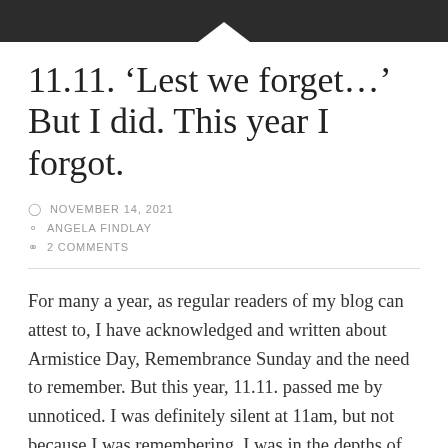[Figure (photo): Dark header image with white downward-pointing triangle/arrow shape at bottom center]
11.11. ‘Lest we forget…’ But I did. This year I forgot.
NOVEMBER 14, 2021
ANGELA FINDLAY
2 COMMENTS
For many a year, as regular readers of my blog can attest to, I have acknowledged and written about Armistice Day, Remembrance Sunday and the need to remember. But this year, 11.11. passed me by unnoticed. I was definitely silent at 11am, but not because I was remembering. I was in the depths of Cornwall deeply immersed in the